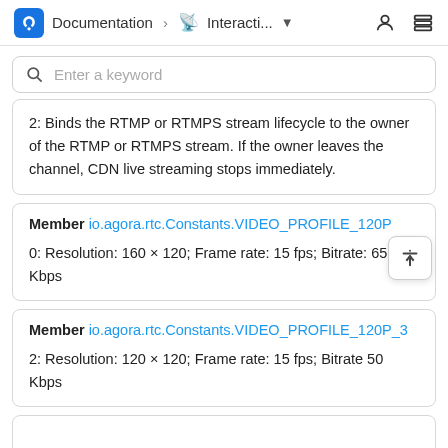Documentation > Interacti...
2: Binds the RTMP or RTMPS stream lifecycle to the owner of the RTMP or RTMPS stream. If the owner leaves the channel, CDN live streaming stops immediately.
Member io.agora.rtc.Constants.VIDEO_PROFILE_120P
0: Resolution: 160 × 120; Frame rate: 15 fps; Bitrate: 65 Kbps
Member io.agora.rtc.Constants.VIDEO_PROFILE_120P_3
2: Resolution: 120 × 120; Frame rate: 15 fps; Bitrate 50 Kbps